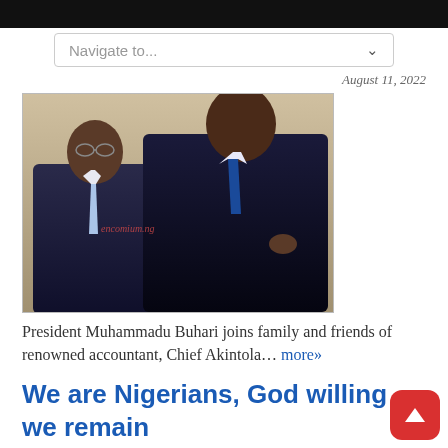Navigate to...
August 11, 2022
[Figure (photo): Two elderly men in dark suits standing together. A watermark reads 'encomium.ng'.]
President Muhammadu Buhari joins family and friends of renowned accountant, Chief Akintola... more»
We are Nigerians, God willing we remain